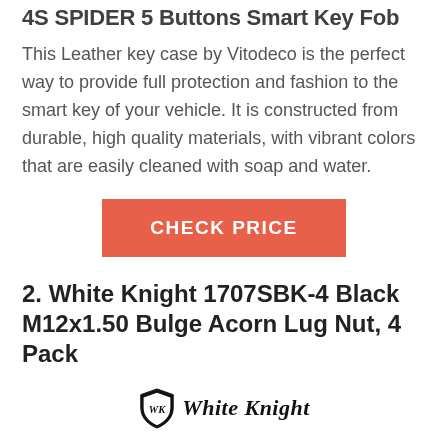4S SPIDER 5 Buttons Smart Key Fob
This Leather key case by Vitodeco is the perfect way to provide full protection and fashion to the smart key of your vehicle. It is constructed from durable, high quality materials, with vibrant colors that are easily cleaned with soap and water.
[Figure (other): CHECK PRICE button - orange/salmon colored rectangular button with white bold text]
2. White Knight 1707SBK-4 Black M12x1.50 Bulge Acorn Lug Nut, 4 Pack
[Figure (logo): White Knight brand logo - shield icon with gothic style text reading White Knight]